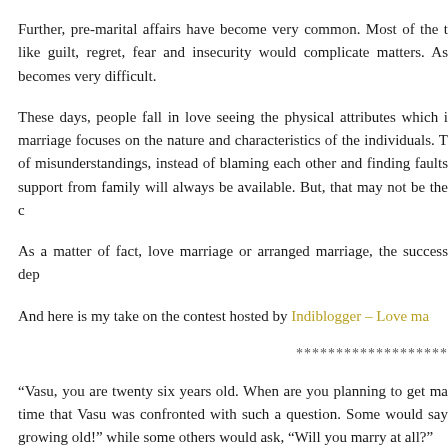Further, pre-marital affairs have become very common. Most of the t like guilt, regret, fear and insecurity would complicate matters. As becomes very difficult.
These days, people fall in love seeing the physical attributes which i marriage focuses on the nature and characteristics of the individuals. T of misunderstandings, instead of blaming each other and finding faults support from family will always be available. But, that may not be the c
As a matter of fact, love marriage or arranged marriage, the success dep
And here is my take on the contest hosted by Indiblogger – Love ma
*******************
“Vasu, you are twenty six years old. When are you planning to get ma time that Vasu was confronted with such a question. Some would say growing old!” while some others would ask, “Will you marry at all?”